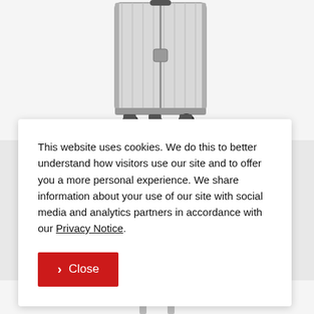[Figure (photo): A silver/white hard-shell spinner suitcase with four wheels, partially cropped at top, showing the lower two-thirds of the luggage on a light background.]
This website uses cookies. We do this to better understand how visitors use our site and to offer you a more personal experience. We share information about your use of our site with social media and analytics partners in accordance with our Privacy Notice.
> Close
[Figure (photo): Bottom portion of luggage trolley/handle, partially visible at the bottom edge of the page.]